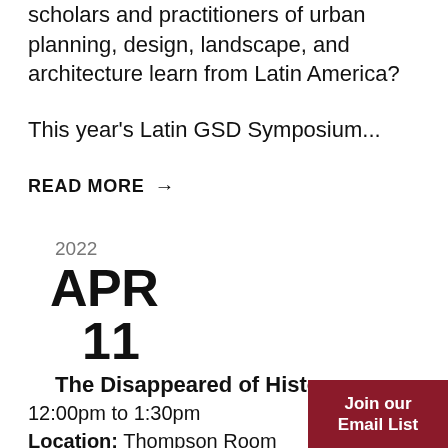scholars and practitioners of urban planning, design, landscape, and architecture learn from Latin America?
This year's Latin GSD Symposium...
READ MORE →
2022
APR
11
The Disappeared of History
12:00pm to 1:30pm
Location: Thompson Room at the Barker Center
Join our Email List